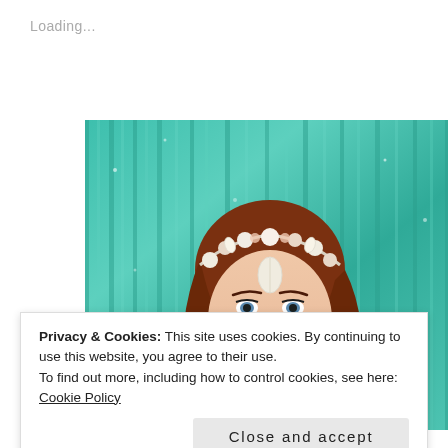Loading...
[Figure (photo): Woman with auburn hair wearing a floral/shell crown headpiece against a teal glitter curtain background. She has blue eyes, red lipstick, and makeup. The crown has white shells and flowers.]
Privacy & Cookies: This site uses cookies. By continuing to use this website, you agree to their use.
To find out more, including how to control cookies, see here:
Cookie Policy
Close and accept
Hi! I'm Mermaid Lelie.